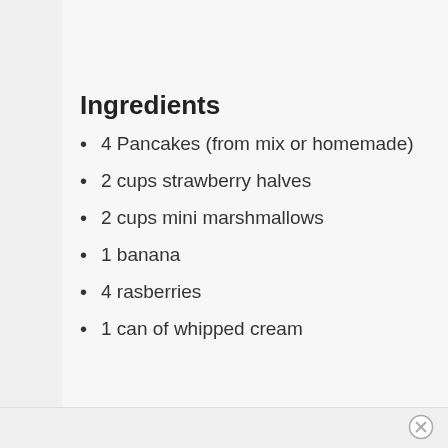Ingredients
4 Pancakes (from mix or homemade)
2 cups strawberry halves
2 cups mini marshmallows
1 banana
4 rasberries
1 can of whipped cream